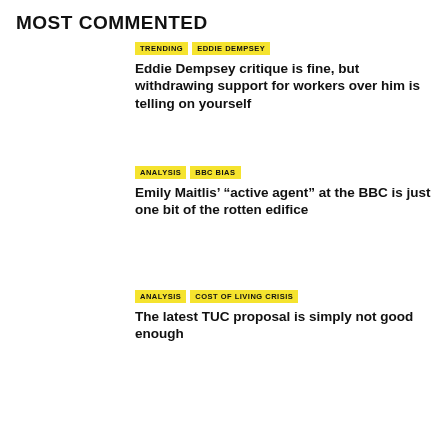MOST COMMENTED
Eddie Dempsey critique is fine, but withdrawing support for workers over him is telling on yourself
Emily Maitlis’ “active agent” at the BBC is just one bit of the rotten edifice
The latest TUC proposal is simply not good enough